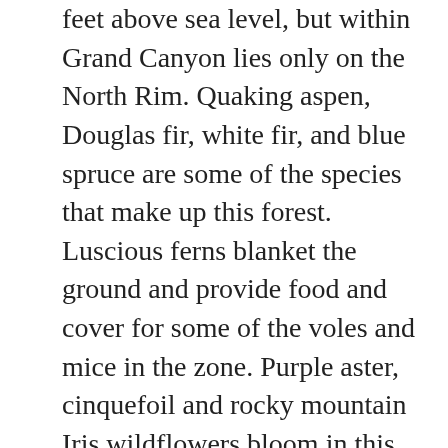feet above sea level, but within Grand Canyon lies only on the North Rim. Quaking aspen, Douglas fir, white fir, and blue spruce are some of the species that make up this forest. Luscious ferns blanket the ground and provide food and cover for some of the voles and mice in the zone. Purple aster, cinquefoil and rocky mountain Iris wildflowers bloom in this zone. Bison, black bear, Kaibab squirrels and rabbits that have adapted to cold, snowy, winters reside here. Other mammals such as elk and mule deer migrate to lower elevations during the winter months where temperatures are warmer.